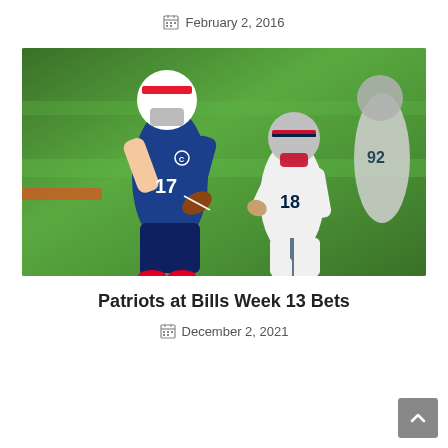February 2, 2016
[Figure (photo): NFL game action photo showing a Buffalo Bills quarterback in blue jersey (#17) holding a football and preparing to throw, while a New England Patriots defender in white jersey (#18) reaches to tackle him. Both players are on a green football field.]
Patriots at Bills Week 13 Bets
December 2, 2021